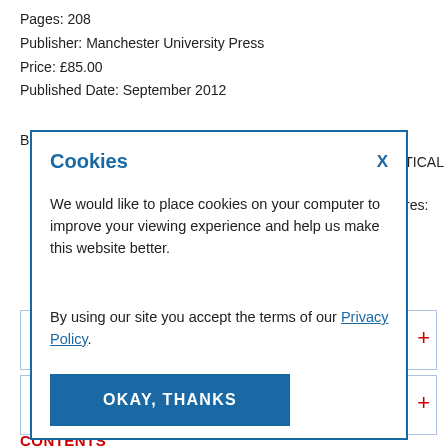Pages: 208
Publisher: Manchester University Press
Price: £85.00
Published Date: September 2012
BIC Category: Politics, Political structures: democracy, Political studies, POLITICAL social sciences / political structures:
Cookies

We would like to place cookies on your computer to improve your viewing experience and help us make this website better.

By using our site you accept the terms of our Privacy Policy.

OKAY, THANKS
CONTENTS